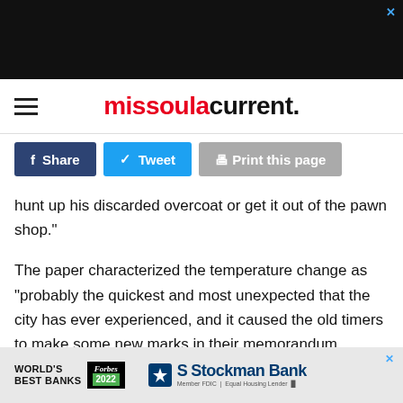[Figure (other): Dark advertisement banner at top of page with close X button]
missoula current.
[Figure (other): Social sharing buttons: Share (Facebook), Tweet (Twitter), Print this page]
hunt up his discarded overcoat or get it out of the pawn shop."
The paper characterized the temperature change as "probably the quickest and most unexpected that the city has ever experienced, and it caused the old timers to make some new marks in their memorandum books."
Then, there was the storm of 1899.
[Figure (other): Advertisement banner for Stockman Bank - World's Best Banks Forbes 2022]